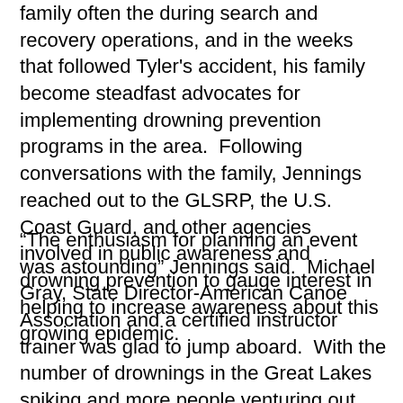family often the during search and recovery operations, and in the weeks that followed Tyler's accident, his family become steadfast advocates for implementing drowning prevention programs in the area.  Following conversations with the family, Jennings reached out to the GLSRP, the U.S. Coast Guard, and other agencies involved in public awareness and drowning prevention to gauge interest in helping to increase awareness about this growing epidemic.
“The enthusiasm for planning an event was astounding” Jennings said.  Michael Gray, State Director-American Canoe Association and a certified instructor trainer was glad to jump aboard.  With the number of drownings in the Great Lakes spiking and more people venturing out into the lakes, Gray knows it could be another bad year for drownings without an